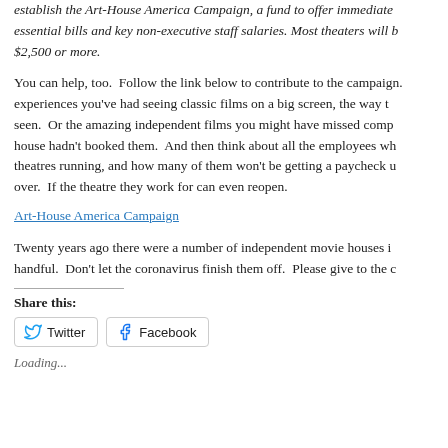establish the Art-House America Campaign, a fund to offer immediate essential bills and key non-executive staff salaries. Most theaters will b $2,500 or more.
You can help, too. Follow the link below to contribute to the campaign. experiences you've had seeing classic films on a big screen, the way t seen. Or the amazing independent films you might have missed comp house hadn't booked them. And then think about all the employees wh theatres running, and how many of them won't be getting a paycheck u over. If the theatre they work for can even reopen.
Art-House America Campaign
Twenty years ago there were a number of independent movie houses i handful. Don't let the coronavirus finish them off. Please give to the c
Share this:
Twitter
Facebook
Loading...